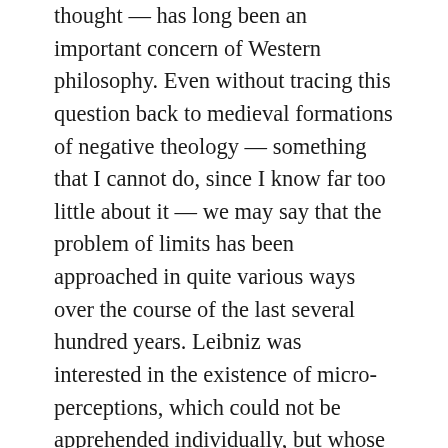thought — has long been an important concern of Western philosophy. Even without tracing this question back to medieval formations of negative theology — something that I cannot do, since I know far too little about it — we may say that the problem of limits has been approached in quite various ways over the course of the last several hundred years. Leibniz was interested in the existence of micro-perceptions, which could not be apprehended individually, but whose summation, or integration, produced sensory impressions like the sound of the crashing of waves on the seashore. At the opposite extreme, incommensurable macro-sensations were the raw material of the experience of the sublime and became in the 18th century a mode...